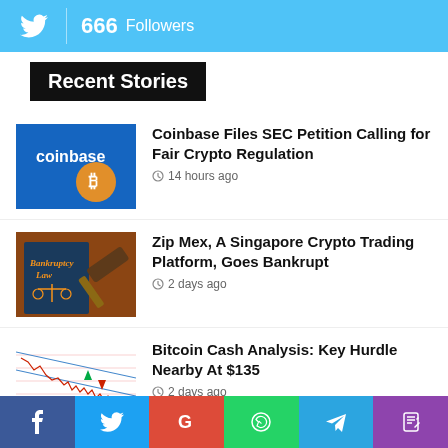666 Followers
Recent Stories
[Figure (photo): Coinbase app on blue screen with Bitcoin coins]
Coinbase Files SEC Petition Calling for Fair Crypto Regulation
14 hours ago
[Figure (photo): Bankruptcy Law book with gavel]
Zip Mex, A Singapore Crypto Trading Platform, Goes Bankrupt
2 days ago
[Figure (continuous-plot): Bitcoin Cash price chart with downtrending channel]
Bitcoin Cash Analysis: Key Hurdle Nearby At $135
2 days ago
[Figure (continuous-plot): Litecoin price chart with candlesticks]
Litecoin (LTC) Price Analysis: Recovery Could Be Capped Above $60
f  Twitter  G  WhatsApp  Telegram  Phone